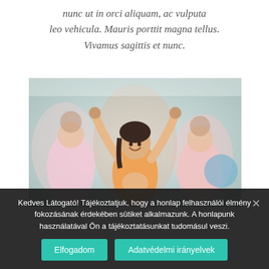nunc ut in orci aliquam, ac vulputa leo vehicula. Mauris porttit magna tellus. Vivamus sagittis et nunc.
[Figure (photo): Group fitness class photo showing a woman in an orange sports bra with arms raised in celebration, surrounded by other participants in a gym setting]
Kedves Látogató! Tájékoztatjuk, hogy a honlap felhasználói élmény fokozásának érdekében sütiket alkalmazunk. A honlapunk használatával Ön a tájékoztatásunkat tudomásul veszi.
Elfogadom
Adatvédelmi irányelvek